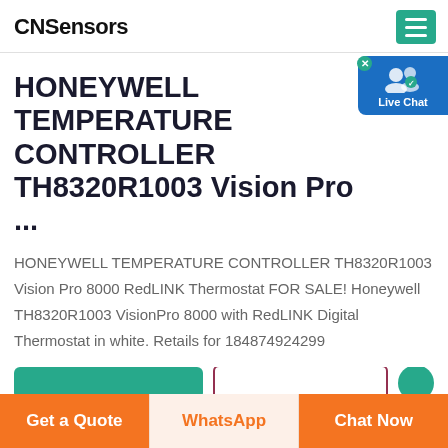CNSensors
HONEYWELL TEMPERATURE CONTROLLER TH8320R1003 Vision Pro ...
HONEYWELL TEMPERATURE CONTROLLER TH8320R1003 Vision Pro 8000 RedLINK Thermostat FOR SALE! Honeywell TH8320R1003 VisionPro 8000 with RedLINK Digital Thermostat in white. Retails for 184874924299
[Figure (other): Live Chat badge with user icon and checkmark]
Get a Quote
WhatsApp
Chat Now